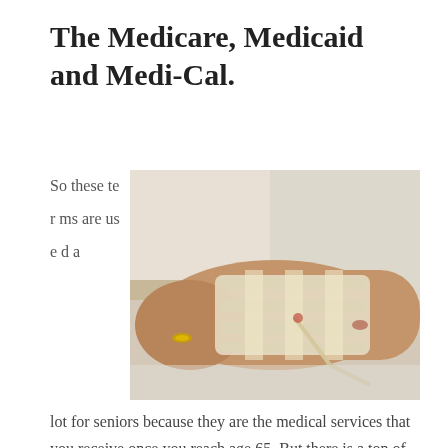The Medicare, Medicaid and Medi-Cal.
[Figure (photo): Close-up photograph of an elderly person's hand with a medical IV drip and bandaging wrapped around the arm and wrist, resting on white cloth.]
So these terms are used a lot for seniors because they are the medical services that you receive once you reach age 65. But there is a ton of confusion around them. And unfortunately the names are so close to each other, that people often